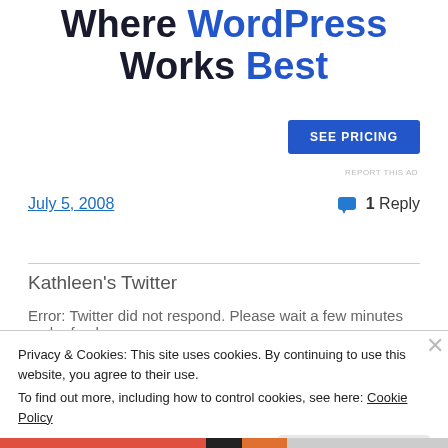Where WordPress Works Best
[Figure (other): SEE PRICING button (blue rectangle)]
REPORT THIS AD
July 5, 2008
1 Reply
Kathleen's Twitter
Error: Twitter did not respond. Please wait a few minutes and refresh
Privacy & Cookies: This site uses cookies. By continuing to use this website, you agree to their use.
To find out more, including how to control cookies, see here: Cookie Policy
Close and accept